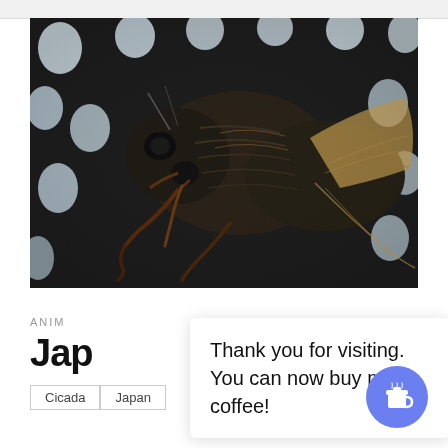[Figure (photo): Close-up macro photograph of a cicada on a perforated metal surface. The insect is dark brown/black with detailed exoskeleton texture, compound eyes, and wings visible. The background shows a metal grid with circular holes showing bright light through them.]
ANIM
Jap
Thank you for visiting. You can now buy me a coffee!
Cicada
Japan